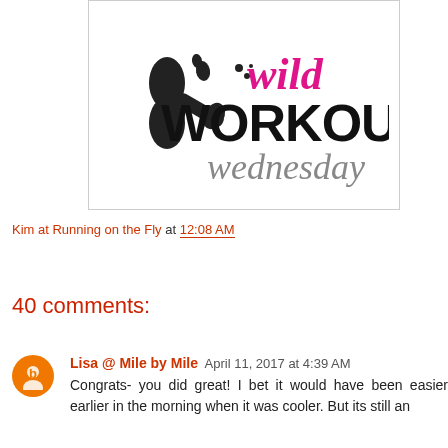[Figure (logo): Wild Workout Wednesday logo with dumbbell graphic. 'wild' in pink cursive, 'WORKOUT' in bold black, 'wednesday' in grey cursive.]
Kim at Running on the Fly at 12:08 AM
Share
40 comments:
Lisa @ Mile by Mile  April 11, 2017 at 4:39 AM
Congrats- you did great! I bet it would have been easier earlier in the morning when it was cooler. But its still an